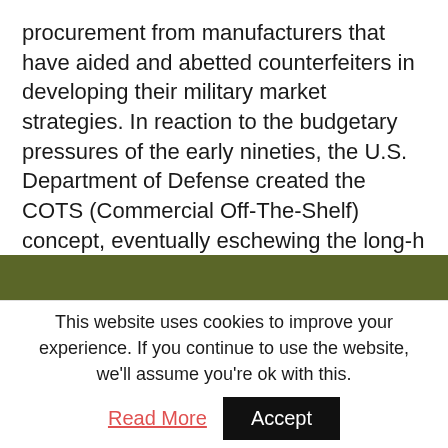procurement from manufacturers that have aided and abetted counterfeiters in developing their military market strategies. In reaction to the budgetary pressures of the early nineties, the U.S. Department of Defense created the COTS (Commercial Off-The-Shelf) concept, eventually eschewing the long-h
Contact Us
This website uses cookies to improve your experience. If you continue to use the website, we'll assume you're ok with this. Read More  Accept